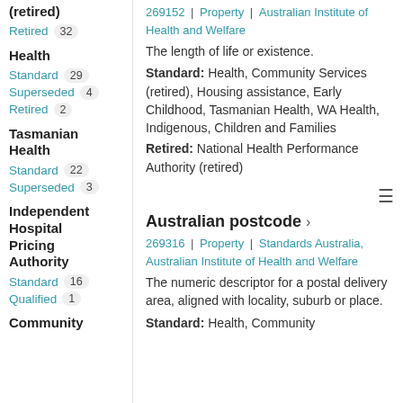(retired)
Retired 32
Health
Standard 29
Superseded 4
Retired 2
Tasmanian Health
Standard 22
Superseded 3
Independent Hospital Pricing Authority
Standard 16
Qualified 1
Community
269152 | Property | Australian Institute of Health and Welfare
The length of life or existence.
Standard: Health, Community Services (retired), Housing assistance, Early Childhood, Tasmanian Health, WA Health, Indigenous, Children and Families
Retired: National Health Performance Authority (retired)
Australian postcode
269316 | Property | Standards Australia, Australian Institute of Health and Welfare
The numeric descriptor for a postal delivery area, aligned with locality, suburb or place.
Standard: Health, Community